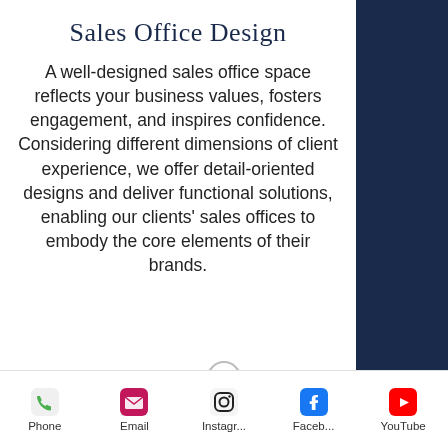Sales Office Design
A well-designed sales office space reflects your business values, fosters engagement, and inspires confidence. Considering different dimensions of client experience, we offer detail-oriented designs and deliver functional solutions, enabling our clients' sales offices to embody the core elements of their brands.
[Figure (infographic): Mobile app bottom navigation bar with Phone (green phone icon), Email (pink envelope icon), Instagram (black Instagram icon), Facebook (blue Facebook icon), YouTube (red YouTube icon)]